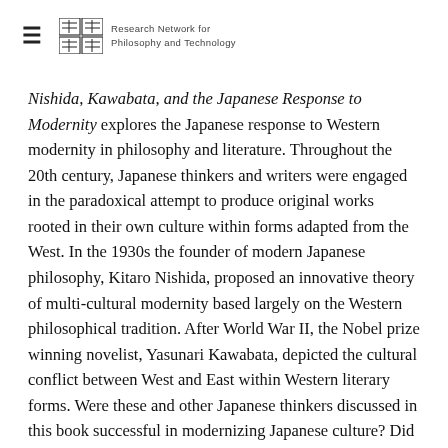Research Network for Philosophy and Technology
Nishida, Kawabata, and the Japanese Response to Modernity explores the Japanese response to Western modernity in philosophy and literature. Throughout the 20th century, Japanese thinkers and writers were engaged in the paradoxical attempt to produce original works rooted in their own culture within forms adapted from the West. In the 1930s the founder of modern Japanese philosophy, Kitaro Nishida, proposed an innovative theory of multi-cultural modernity based largely on the Western philosophical tradition. After World War II, the Nobel prize winning novelist, Yasunari Kawabata, depicted the cultural conflict between West and East within Western literary forms. Were these and other Japanese thinkers discussed in this book successful in modernizing Japanese culture? Did their attempts to do so establish or refute the often claimed universality of Western modernity? These are the questions to which this book is addressed.